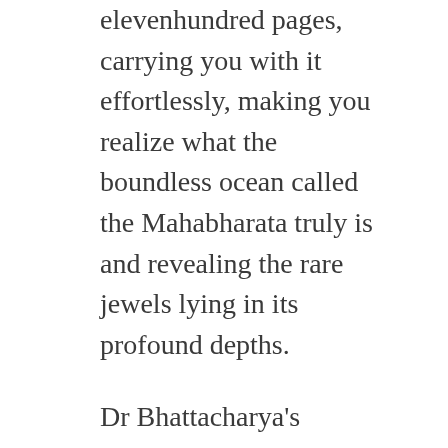elevenhundred pages, carrying you with it effortlessly, making you realize what the boundless ocean called the Mahabharata truly is and revealing the rare jewels lying in its profound depths.
Dr Bhattacharya's translation is a superb example for what encyclopedic knowledge, hard work, superb literary talent, total commitment and tireless energy can achieve. The work is a masterpiece of Sanskrit translation, an inspiration for all translators not only from Sanskrit to English but from any language to any other language. As a translator Bhattacharya eminently succeeds in achieving all the aims he sets for himself and gives the English reading